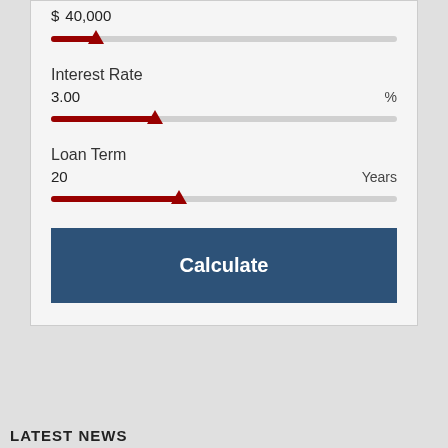$ 40,000
[Figure (other): Loan amount slider showing value at approximately 13% position with red fill and red triangle thumb]
Interest Rate
3.00  %
[Figure (other): Interest rate slider showing 3.00% value at approximately 30% position with red fill and red triangle thumb]
Loan Term
20  Years
[Figure (other): Loan term slider showing 20 years at approximately 37% position with red fill and red triangle thumb]
Calculate
LATEST NEWS